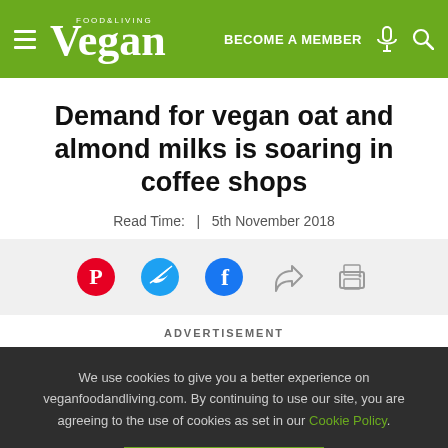Vegan Food & Living | BECOME A MEMBER
Demand for vegan oat and almond milks is soaring in coffee shops
Read Time:  |  5th November 2018
[Figure (infographic): Social share icons: Pinterest, Twitter, Facebook, share arrow, print]
ADVERTISEMENT
We use cookies to give you a better experience on veganfoodandliving.com. By continuing to use our site, you are agreeing to the use of cookies as set in our Cookie Policy.
OK, got it